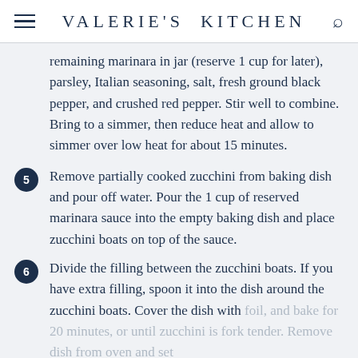VALERIE'S KITCHEN
remaining marinara in jar (reserve 1 cup for later), parsley, Italian seasoning, salt, fresh ground black pepper, and crushed red pepper. Stir well to combine. Bring to a simmer, then reduce heat and allow to simmer over low heat for about 15 minutes.
5. Remove partially cooked zucchini from baking dish and pour off water. Pour the 1 cup of reserved marinara sauce into the empty baking dish and place zucchini boats on top of the sauce.
6. Divide the filling between the zucchini boats. If you have extra filling, spoon it into the dish around the zucchini boats. Cover the dish with foil, and bake for 20 minutes, or until zucchini is fork tender. Remove dish from oven and set